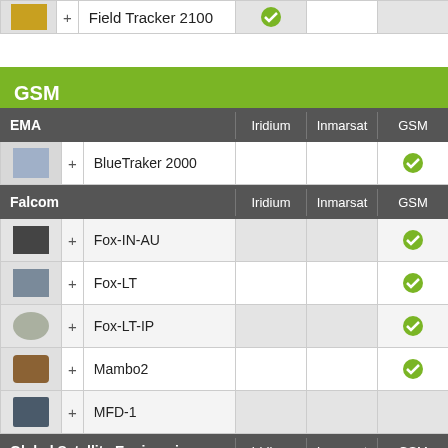|  |  | Field Tracker 2100 | Iridium | Inmarsat | GSM |
| --- | --- | --- | --- | --- | --- |
| (image) | + | Field Tracker 2100 |  |  | ✓ |
GSM
| EMA | Iridium | Inmarsat | GSM |
| --- | --- | --- | --- |
| BlueTraker 2000 |  |  | ✓ |
| Falcom | Iridium | Inmarsat | GSM |
| --- | --- | --- | --- |
| Fox-IN-AU |  |  | ✓ |
| Fox-LT |  |  | ✓ |
| Fox-LT-IP |  |  | ✓ |
| Mambo2 |  |  | ✓ |
| MFD-1 |  |  |  |
| Global Satellite Engineering | Iridium | Inmarsat | GSM |
| --- | --- | --- | --- |
| Garmin Fleet Management |  |  | ✓ |